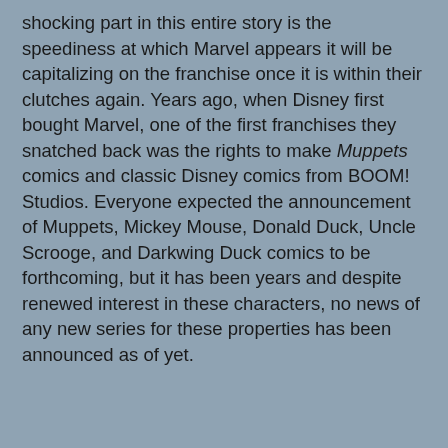shocking part in this entire story is the speediness at which Marvel appears it will be capitalizing on the franchise once it is within their clutches again. Years ago, when Disney first bought Marvel, one of the first franchises they snatched back was the rights to make Muppets comics and classic Disney comics from BOOM! Studios. Everyone expected the announcement of Muppets, Mickey Mouse, Donald Duck, Uncle Scrooge, and Darkwing Duck comics to be forthcoming, but it has been years and despite renewed interest in these characters, no news of any new series for these properties has been announced as of yet.